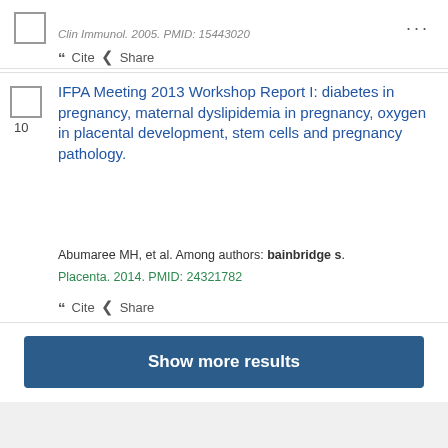Clin Immunol. 2005. PMID: 15443020
“” Cite  Share
IFPA Meeting 2013 Workshop Report I: diabetes in pregnancy, maternal dyslipidemia in pregnancy, oxygen in placental development, stem cells and pregnancy pathology.
Abumaree MH, et al. Among authors: bainbridge s.
Placenta. 2014. PMID: 24321782
“” Cite  Share
Show more results